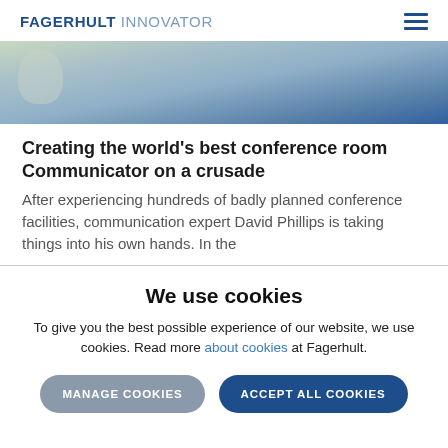FAGERHULT INNOVATOR
[Figure (photo): Cropped photo of a person in a blue shirt with dark hair, outdoors, partially visible from behind.]
Creating the world’s best conference room Communicator on a crusade
After experiencing hundreds of badly planned conference facilities, communication expert David Phillips is taking things into his own hands. In the
We use cookies
To give you the best possible experience of our website, we use cookies. Read more about cookies at Fagerhult.
MANAGE COOKIES   ACCEPT ALL COOKIES